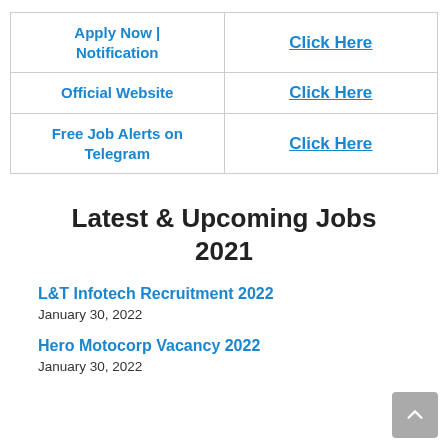| Apply Now | Notification | Click Here |
| --- | --- |
| Apply Now | Notification | Click Here |
| Official Website | Click Here |
| Free Job Alerts on Telegram | Click Here |
Latest & Upcoming Jobs 2021
L&T Infotech Recruitment 2022
January 30, 2022
Hero Motocorp Vacancy 2022
January 30, 2022